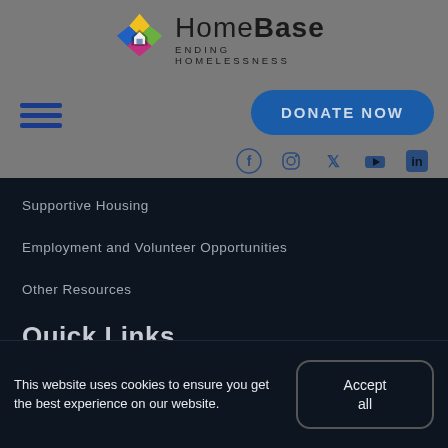[Figure (logo): HomeBase Ending Homelessness logo with colorful diamond/kite shape icon and text]
[Figure (other): Hamburger menu icon (three horizontal blue lines)]
[Figure (other): DONATE NOW button in blue rounded rectangle]
[Figure (other): Social media icons: Facebook, Instagram, Twitter/X, YouTube, LinkedIn]
Supportive Housing
Employment and Volunteer Opportunities
Other Resources
Quick Links
News and Resources
This website uses cookies to ensure you get the best experience on our website.
Accept all